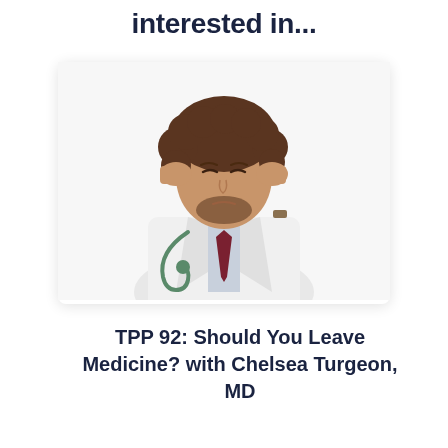interested in...
[Figure (photo): A male doctor in a white lab coat with a stethoscope, holding both hands to his temples with eyes closed, appearing stressed or having a headache. White background.]
TPP 92: Should You Leave Medicine? with Chelsea Turgeon, MD